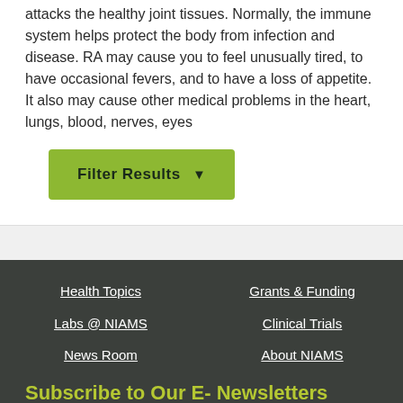attacks the healthy joint tissues. Normally, the immune system helps protect the body from infection and disease. RA may cause you to feel unusually tired, to have occasional fevers, and to have a loss of appetite. It also may cause other medical problems in the heart, lungs, blood, nerves, eyes
Filter Results
Health Topics | Grants & Funding | Labs @ NIAMS | Clinical Trials | News Room | About NIAMS
Subscribe to Our E- Newsletters